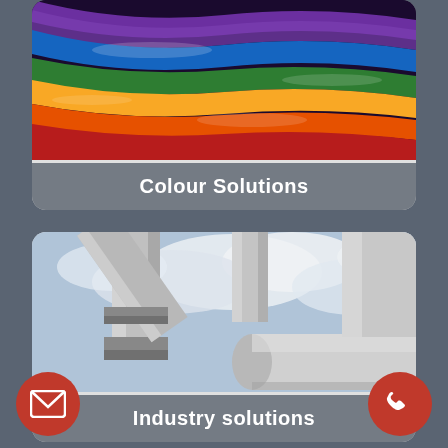[Figure (photo): Colourful rainbow paint stripes — vibrant wavy bands of purple, blue, green, yellow, orange, red — glossy paint texture]
Colour Solutions
[Figure (photo): Industrial metallic pipes and a large cylindrical tank against a cloudy sky — stainless steel industrial infrastructure]
Industry solutions